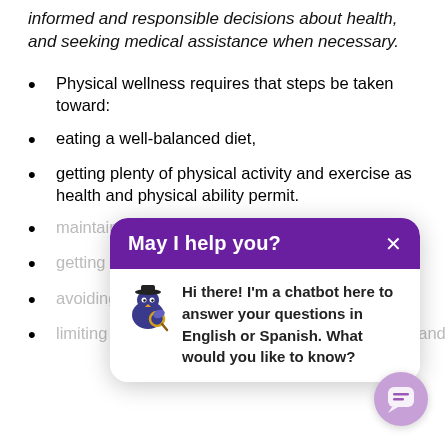informed and responsible decisions about health, and seeking medical assistance when necessary.
Physical wellness requires that steps be taken toward:
eating a well-balanced diet,
getting plenty of physical activity and exercise as health and physical ability permit.
maintaining proper weight,
getting enough sleep,
avoiding risky sexual behavior,
limiting exposure to environmental contaminants, and
[Figure (screenshot): A chatbot popup overlay with purple header reading 'May I help you?' with an X close button, and white body showing a bird mascot icon and text: 'Hi there! I'm a chatbot here to answer your questions in English or Spanish. What would you like to know?'. A purple circular chat button appears at bottom right.]